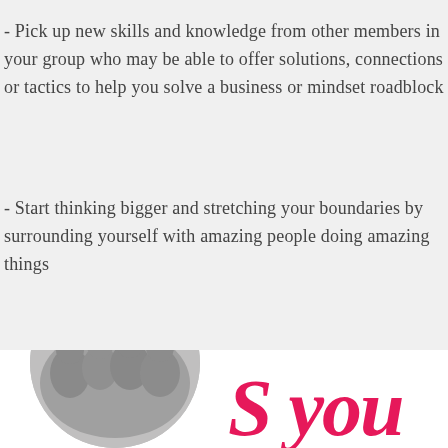- Pick up new skills and knowledge from other members in your group who may be able to offer solutions, connections or tactics to help you solve a business or mindset roadblock
- Start thinking bigger and stretching your boundaries by surrounding yourself with amazing people doing amazing things
[Figure (photo): Circular cropped photo of a group of women sitting together in a bright room, bottom-left of page]
[Figure (illustration): Pink handwritten/script style text partially visible at bottom-right, appears to be part of a logo or decorative heading]